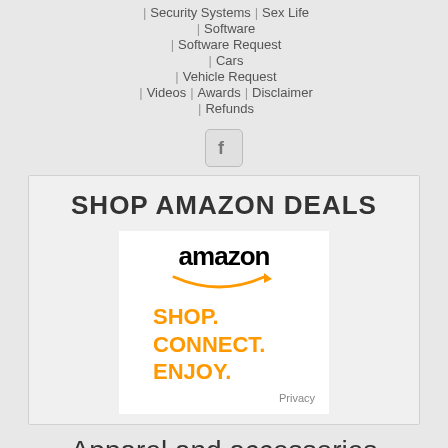Security Systems | Sex Life
Software
Software Request
Cars
Vehicle Request
Videos | Awards | Disclaimer
Refunds
[Figure (logo): Facebook icon button - square rounded icon with F logo]
SHOP AMAZON DEALS
[Figure (illustration): Amazon advertisement showing amazon wordmark with smile arrow and text SHOP. CONNECT. ENJOY. in orange]
Privacy
Apparel and accessories